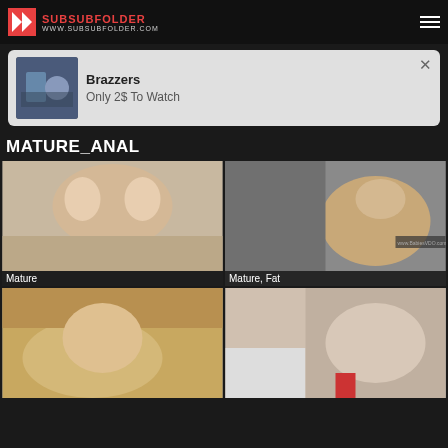WWW.SUBSUBFOLDER.COM
[Figure (other): Advertisement banner: Brazzers - Only 2$ To Watch, with thumbnail image]
MATURE_ANAL
[Figure (photo): Mature category thumbnail]
[Figure (photo): Mature, Fat category thumbnail]
[Figure (photo): Mature category thumbnail bottom left]
[Figure (photo): Category thumbnail bottom right]